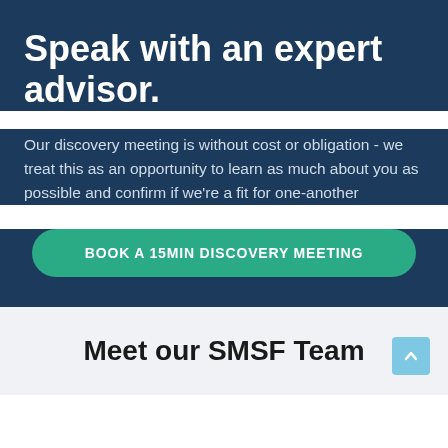Speak with an expert advisor.
Our discovery meeting is without cost or obligation - we treat this as an opportunity to learn as much about you as possible and confirm if we're a fit for one-another
BOOK A 15MIN DISCOVERY MEETING
Meet our SMSF Team